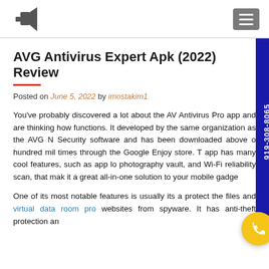[Logo] [Hamburger menu]
AVG Antivirus Expert Apk (2022) Review
Posted on June 5, 2022 by imostakim1
You've probably discovered a lot about the AVG Antivirus Pro app and are thinking how functions. It developed by the same organization as the AVG Norton Security software and has been downloaded above one hundred mil times through the Google Enjoy store. The app has many cool features, such as app lock photography vault, and Wi-Fi reliability scan, that make it a great all-in-one solution to your mobile gadget.
One of its most notable features is usually its ability protect the files and virtual data room providers websites from spyware. It has anti-theft protection and